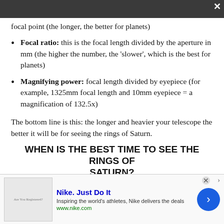focal point (the longer, the better for planets)
Focal ratio: this is the focal length divided by the aperture in mm (the higher the number, the 'slower', which is the best for planets)
Magnifying power: focal length divided by eyepiece (for example, 1325mm focal length and 10mm eyepiece = a magnification of 132.5x)
The bottom line is this: the longer and heavier your telescope the better it will be for seeing the rings of Saturn.
WHEN IS THE BEST TIME TO SEE THE RINGS OF SATURN?